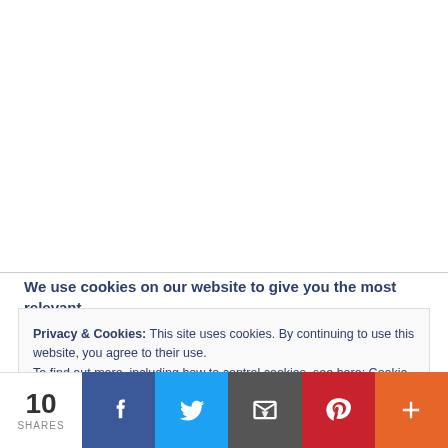[Figure (other): White blank content area above cookie notice]
We use cookies on our website to give you the most relevant
Privacy & Cookies: This site uses cookies. By continuing to use this website, you agree to their use.
To find out more, including how to control cookies, see here: Cookie Policy
10 SHARES
[Figure (infographic): Social share bar with Facebook, Twitter, Email, Pinterest, and More buttons]